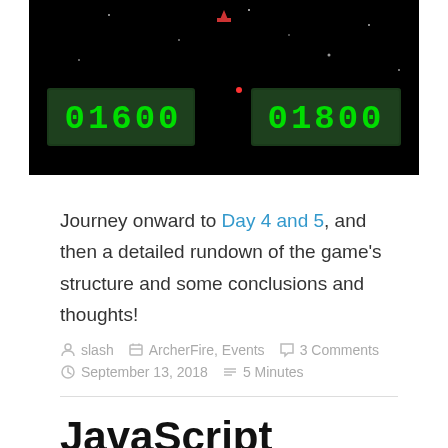[Figure (screenshot): A video game screenshot with black background, stars, a small red spaceship at top center, and two green LED-style score displays reading '01600' on the left and '01800' on the right]
Journey onward to Day 4 and 5, and then a detailed rundown of the game's structure and some conclusions and thoughts!
slash  ArcherFire, Events  3 Comments  September 13, 2018  5 Minutes
JavaScript motion picture experiment
While developing Curse of Wallachia, I was